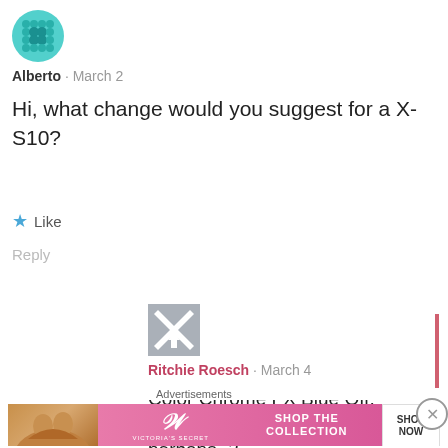[Figure (illustration): Teal circular avatar with dot pattern for user Alberto]
Alberto · March 2
Hi, what change would you suggest for a X-S10?
★ Like
Reply
[Figure (illustration): Greyscale X/Fujifilm logo style avatar for Ritchie Roesch]
Ritchie Roesch · March 4
Color Chrome FX Blue Off, Grain Weak Small, Clarity 0 or perhaps -2.
Advertisements